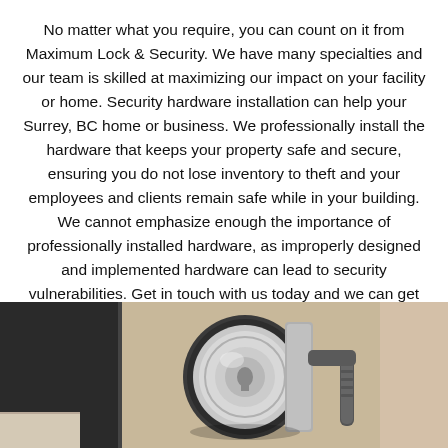No matter what you require, you can count on it from Maximum Lock & Security. We have many specialties and our team is skilled at maximizing our impact on your facility or home. Security hardware installation can help your Surrey, BC home or business. We professionally install the hardware that keeps your property safe and secure, ensuring you do not lose inventory to theft and your employees and clients remain safe while in your building. We cannot emphasize enough the importance of professionally installed hardware, as improperly designed and implemented hardware can lead to security vulnerabilities. Get in touch with us today and we can get started on bolstering your property.
[Figure (other): Red rounded rectangle button labeled CONTACT US]
[Figure (photo): Close-up photograph of a door lock mechanism showing a cylindrical metallic lock body and a lever handle against a dark door panel]